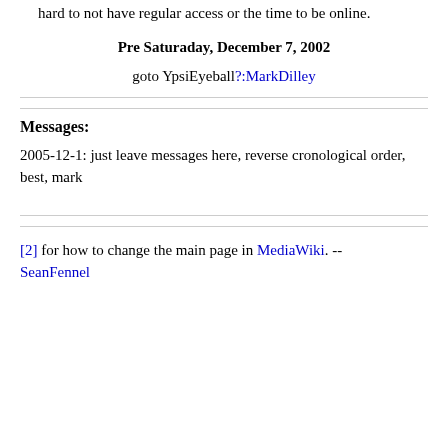hard to not have regular access or the time to be online.
Pre Saturaday, December 7, 2002
goto YpsiEyeball?:MarkDilley
Messages:
2005-12-1: just leave messages here, reverse cronological order, best, mark
[2] for how to change the main page in MediaWiki. -- SeanFennel